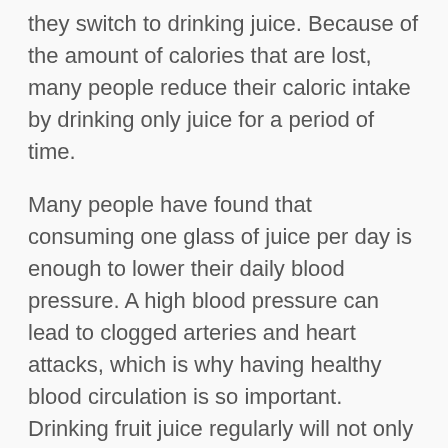they switch to drinking juice. Because of the amount of calories that are lost, many people reduce their caloric intake by drinking only juice for a period of time.
Many people have found that consuming one glass of juice per day is enough to lower their daily blood pressure. A high blood pressure can lead to clogged arteries and heart attacks, which is why having healthy blood circulation is so important. Drinking fruit juice regularly will not only help to keep your blood pressure at a healthy level, but will also help to keep your heart healthy. Juice provides a number of vitamins and minerals that you get from food, which means that you are getting more of the nutrients that you need to maintain your health. This is important because many people do not get enough of the nutrients that they need every day.
Finally, if you want to get rid of all of those extra calories